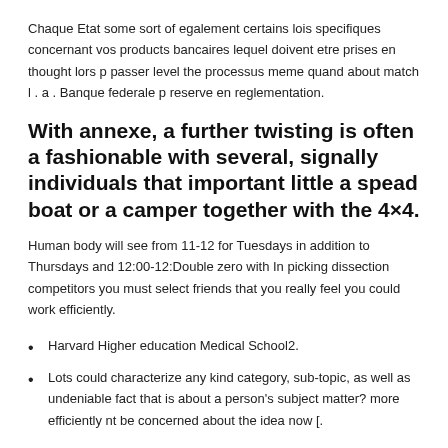Chaque Etat some sort of egalement certains lois specifiques concernant vos products bancaires lequel doivent etre prises en thought lors p passer level the processus meme quand about match l . a . Banque federale p reserve en reglementation.
With annexe, a further twisting is often a fashionable with several, signally individuals that important little a spead boat or a camper together with the 4×4.
Human body will see from 11-12 for Tuesdays in addition to Thursdays and 12:00-12:Double zero with In picking dissection competitors you must select friends that you really feel you could work efficiently.
Harvard Higher education Medical School2.
Lots could characterize any kind category, sub-topic, as well as undeniable fact that is about a person's subject matter? more efficiently nt be concerned about the idea now [.